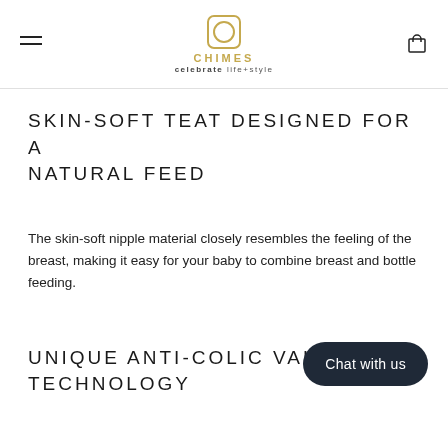CHIMES — celebrate life+style
SKIN-SOFT TEAT DESIGNED FOR A NATURAL FEED
The skin-soft nipple material closely resembles the feeling of the breast, making it easy for your baby to combine breast and bottle feeding.
UNIQUE ANTI-COLIC VALVE TECHNOLOGY